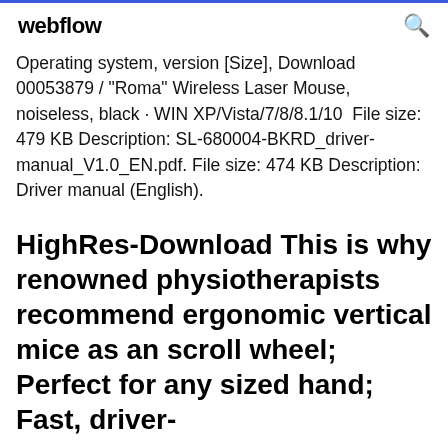webflow
Operating system, version [Size], Download 00053879 / "Roma" Wireless Laser Mouse, noiseless, black · WIN XP/Vista/7/8/8.1/10  File size: 479 KB Description: SL-680004-BKRD_driver-manual_V1.0_EN.pdf. File size: 474 KB Description: Driver manual (English).
HighRes-Download This is why renowned physiotherapists recommend ergonomic vertical mice as an scroll wheel; Perfect for any sized hand; Fast, driver-